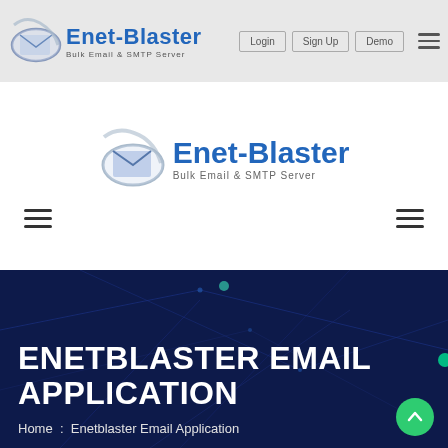Enet-Blaster Bulk Email & SMTP Server | Login | Sign Up | Demo
[Figure (logo): Enet-Blaster logo with envelope icon, text 'Enet-Blaster Bulk Email & SMTP Server' centered in white section]
ENETBLASTER EMAIL APPLICATION
Home : Enetblaster Email Application